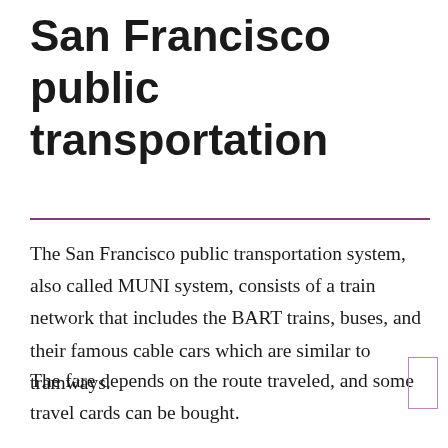San Francisco public transportation
The San Francisco public transportation system, also called MUNI system, consists of a train network that includes the BART trains, buses, and their famous cable cars which are similar to tramways.
The fare depends on the route traveled, and some travel cards can be bought.